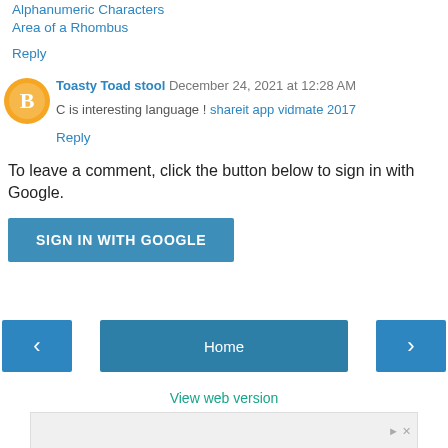Alphanumeric Characters
Area of a Rhombus
Reply
Toasty Toad stool  December 24, 2021 at 12:28 AM
C is interesting language ! shareit app vidmate 2017
Reply
To leave a comment, click the button below to sign in with Google.
SIGN IN WITH GOOGLE
[Figure (screenshot): Navigation bar with back arrow, Home button, and forward arrow, plus View web version link and advertisement banner]
View web version